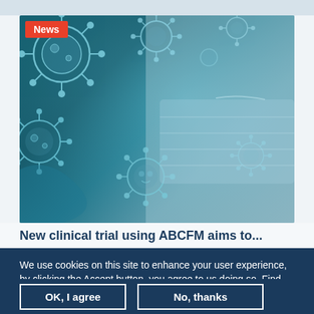[Figure (photo): Person wearing a surgical face mask with overlaid illustrated coronavirus/virus particles floating in front of a teal-blue background. A red 'News' badge appears in the top-left corner of the image.]
New clinical trial using ABCFM aims to...
We use cookies on this site to enhance your user experience, by clicking the Accept button, you agree to us doing so. Find out more
OK, I agree
No, thanks